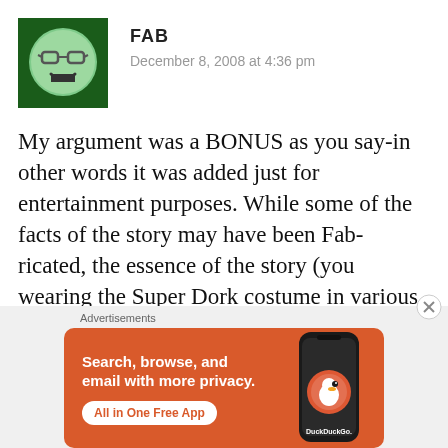[Figure (illustration): Green smiley face avatar with glasses and a smile on a dark green square background]
FAB
December 8, 2008 at 4:36 pm
My argument was a BONUS as you say-in other words it was added just for entertainment purposes. While some of the facts of the story may have been Fab-ricated, the essence of the story (you wearing the Super Dork costume in various colors) is
Advertisements
[Figure (screenshot): DuckDuckGo advertisement banner with orange background: Search, browse, and email with more privacy. All in One Free App. Shows a phone with DuckDuckGo logo.]